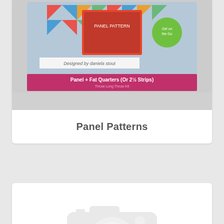[Figure (photo): Product image of a quilting panel pattern book - 'Panel + Fat Quarters (Or 2½ Strips)' designed by Daniela Stout, showing a colorful quilt with triangular patterns]
Panel Patterns
[Figure (photo): Image Not Available placeholder with camera icon]
Pantographs